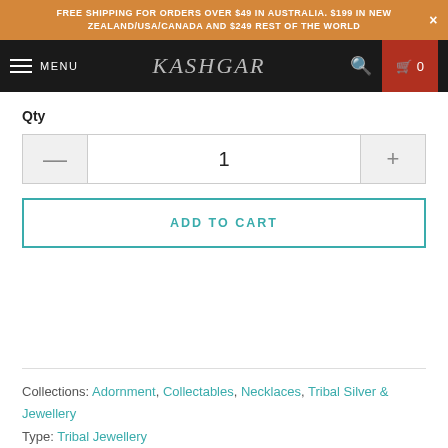FREE SHIPPING FOR ORDERS OVER $49 IN AUSTRALIA. $199 IN NEW ZEALAND/USA/CANADA AND $249 REST OF THE WORLD
KASHGAR  MENU  0
Qty
1
ADD TO CART
Collections: Adornment, Collectables, Necklaces, Tribal Silver & Jewellery
Type: Tribal Jewellery